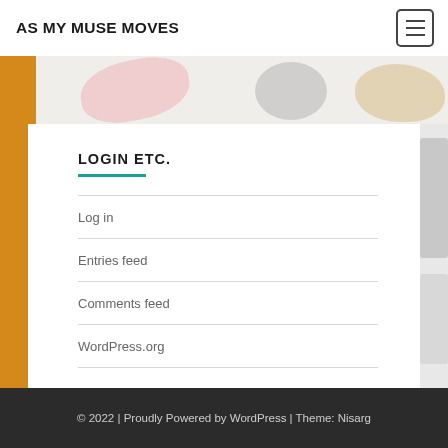AS MY MUSE MOVES
[Figure (illustration): Illustrated animal images strip across top of page - orange tabby, pink flamingo or similar, grey animal, tan/cream colored animal]
LOGIN ETC.
Log in
Entries feed
Comments feed
WordPress.org
© 2022 | Proudly Powered by WordPress | Theme: Nisarg